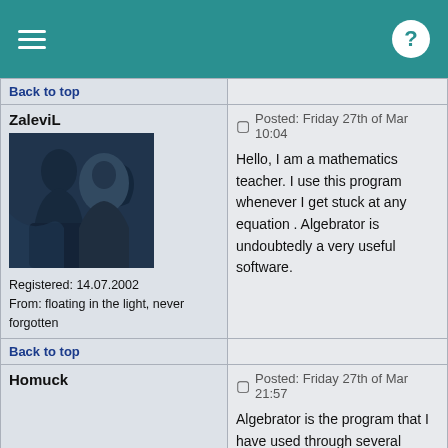Menu / Help
Back to top
ZaleviL
Registered: 14.07.2002
From: floating in the light, never forgotten
Posted: Friday 27th of Mar 10:04
Hello, I am a mathematics teacher. I use this program whenever I get stuck at any equation . Algebrator is undoubtedly a very useful software.
Back to top
Homuck
Registered: 05.07.2001
From: Toronto, Ontario
Posted: Friday 27th of Mar 21:57
Algebrator is the program that I have used through several algebra classes - Algebra 2, College Algebra and Pre Algebra. It is a really a great piece of algebra software. I remember of going through difficulties with system of equations, long division and complex fractions. I would simply type in a problem from the workbook , click on Solve – and step by step solution to my algebra homework. I highly recommend the program.
Back to top